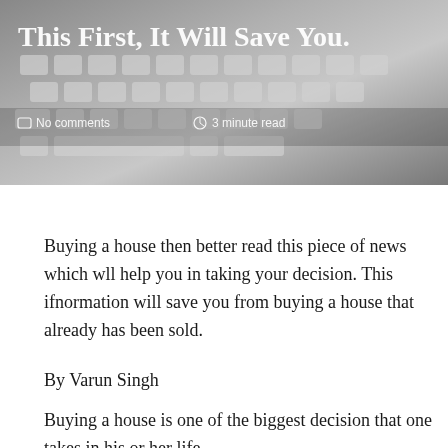[Figure (photo): Hero image showing a keyboard in grayscale with article title overlay text and meta information (No comments, 3 minute read)]
Buying a house then better read this piece of news which wll help you in taking your decision. This ifnormation will save you from buying a house that already has been sold.
By Varun Singh
Buying a house is one of the biggest decision that one takes in his or her life.